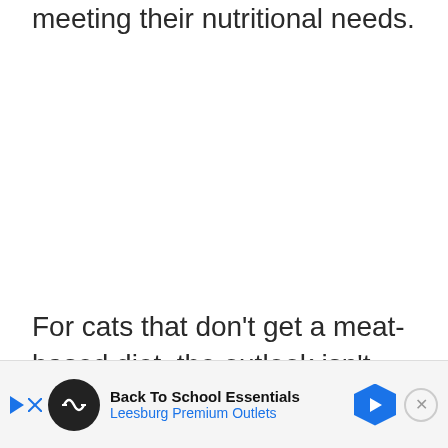meeting their nutritional needs.
For cats that don't get a meat-based diet, the outlook isn't very good. Basically, there are a bunch of nutrients that they need
[Figure (other): Advertisement banner: Back To School Essentials, Leesburg Premium Outlets with logo icon and navigation arrow]